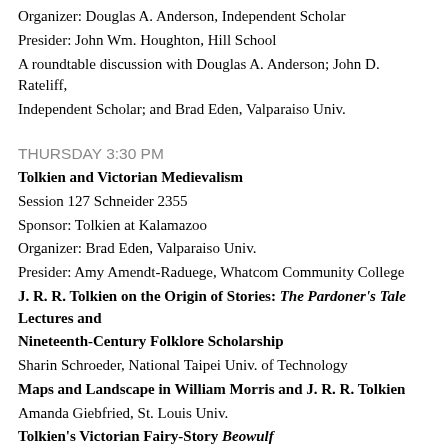Organizer:  Douglas A. Anderson, Independent Scholar
Presider:  John Wm. Houghton, Hill School
A roundtable discussion with Douglas A. Anderson; John D. Rateliff, Independent Scholar; and Brad Eden, Valparaiso Univ.
THURSDAY 3:30 PM
Tolkien and Victorian Medievalism
Session 127 Schneider 2355
Sponsor: Tolkien at Kalamazoo
Organizer: Brad Eden, Valparaiso Univ.
Presider: Amy Amendt-Raduege, Whatcom Community College
J. R. R. Tolkien on the Origin of Stories: The Pardoner's Tale Lectures and Nineteenth-Century Folklore Scholarship
Sharin Schroeder, National Taipei Univ. of Technology
Maps and Landscape in William Morris and J. R. R. Tolkien
Amanda Giebfried, St. Louis Univ.
Tolkien's Victorian Fairy-Story Beowulf
Jane Chance, Rice Univ.
THURSDAY 7:30 PM